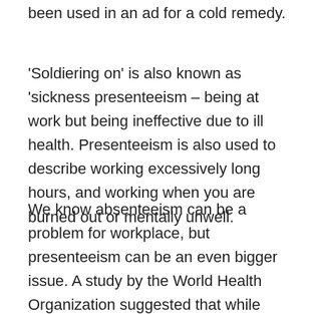been used in an ad for a cold remedy.
'Soldiering on' is also known as 'sickness presenteeism – being at work but being ineffective due to ill health. Presenteeism is also used to describe working excessively long hours, and working when you are burned out or mentally unwell.
We know absenteeism can be a problem for workplace, but presenteeism can be an even bigger issue. A study by the World Health Organization suggested that while absenteeism costs companies about 4 days a year per employee, up to 57.5 days are lost to presenteeism.
[Figure (photo): Photo of two people sitting in an office environment with a plant visible in the background]